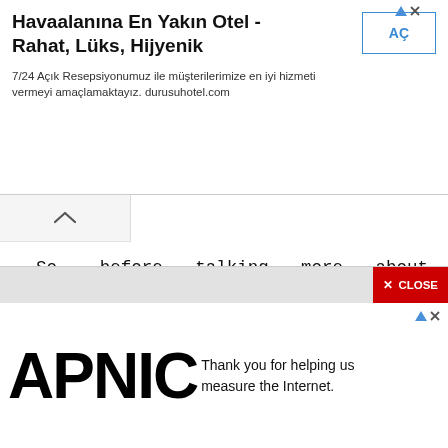[Figure (other): Turkish hotel advertisement banner: 'Havaalanına En Yakın Otel - Rahat, Lüks, Hijyenik' with 'AÇ' button and description text '7/24 Açık Resepsiyonumuz ile müşterilerimize en iyi hizmeti vermeyi amaçlamaktayız. durusuhotel.com']
So, before talking more about TargetPayandbenefits. Let us first know about the portal targetpayandbenefits com.
[Figure (other): APNIC advertisement with logo and text: 'Thank you for helping us measure the Internet.']